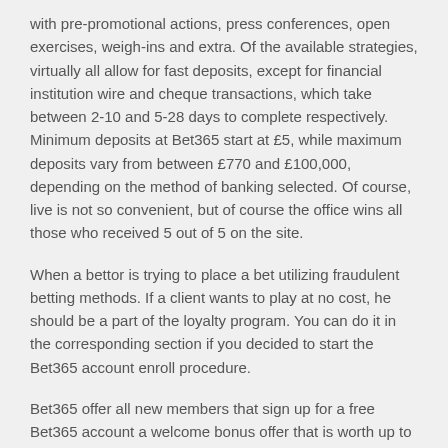with pre-promotional actions, press conferences, open exercises, weigh-ins and extra. Of the available strategies, virtually all allow for fast deposits, except for financial institution wire and cheque transactions, which take between 2-10 and 5-28 days to complete respectively. Minimum deposits at Bet365 start at £5, while maximum deposits vary from between £770 and £100,000, depending on the method of banking selected. Of course, live is not so convenient, but of course the office wins all those who received 5 out of 5 on the site.
When a bettor is trying to place a bet utilizing fraudulent betting methods. If a client wants to play at no cost, he should be a part of the loyalty program. You can do it in the corresponding section if you decided to start the Bet365 account enroll procedure.
Bet365 offer all new members that sign up for a free Bet365 account a welcome bonus offer that is worth up to $200. All that new members need do is create an